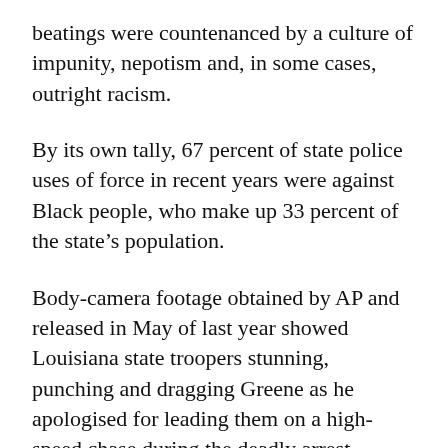beatings were countenanced by a culture of impunity, nepotism and, in some cases, outright racism.
By its own tally, 67 percent of state police uses of force in recent years were against Black people, who make up 33 percent of the state’s population.
Body-camera footage obtained by AP and released in May of last year showed Louisiana state troopers stunning, punching and dragging Greene as he apologised for leading them on a high-speed chase during the deadly arrest.
“I’m your brother! I’m scared!” Greene can be